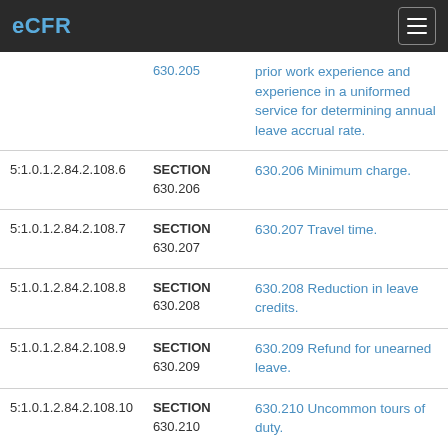eCFR
| ID | Section | Title |
| --- | --- | --- |
|  | SECTION 630.205 | 630.205 prior work experience and experience in a uniformed service for determining annual leave accrual rate. |
| 5:1.0.1.2.84.2.108.6 | SECTION 630.206 | 630.206 Minimum charge. |
| 5:1.0.1.2.84.2.108.7 | SECTION 630.207 | 630.207 Travel time. |
| 5:1.0.1.2.84.2.108.8 | SECTION 630.208 | 630.208 Reduction in leave credits. |
| 5:1.0.1.2.84.2.108.9 | SECTION 630.209 | 630.209 Refund for unearned leave. |
| 5:1.0.1.2.84.2.108.10 | SECTION 630.210 | 630.210 Uncommon tours of duty. |